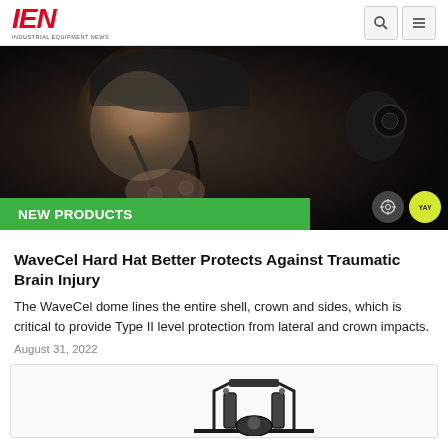IEN INDUSTRIAL EQUIPMENT NEWS
[Figure (photo): Close-up profile of a bearded man wearing a hard hat with chin straps against a dark background, with 'NEW PRODUCTS' green label overlay at the bottom]
NEW PRODUCTS
WaveCel Hard Hat Better Protects Against Traumatic Brain Injury
The WaveCel dome lines the entire shell, crown and sides, which is critical to provide Type II level protection from lateral and crown impacts.
August 31, 2022
[Figure (photo): Mechanical/robotic component shown in white background, partially visible at bottom of page]